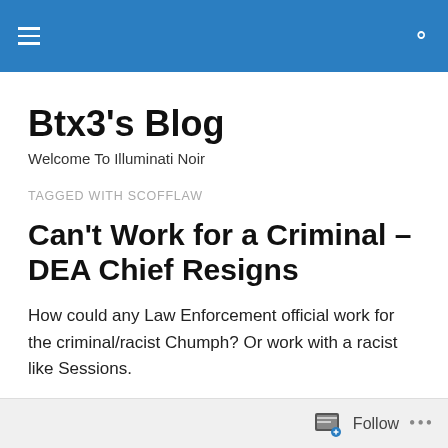Btx3's Blog — navigation header bar
Btx3's Blog
Welcome To Illuminati Noir
TAGGED WITH SCOFFLAW
Can't Work for a Criminal – DEA Chief Resigns
How could any Law Enforcement official work for the criminal/racist Chumph? Or work with a racist like Sessions.
Follow ...